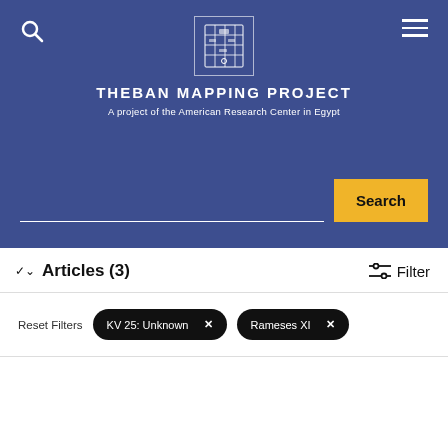THEBAN MAPPING PROJECT
A project of the American Research Center in Egypt
Articles (3)
Reset Filters  KV 25: Unknown ×  Rameses XI ×